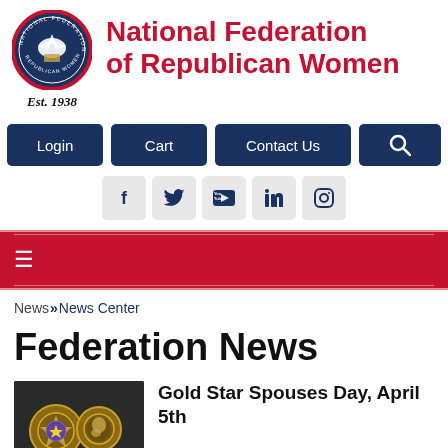[Figure (logo): National Federation of Republican Women circular seal/logo with eagle and red border]
National Federation of Republican Women
Est. 1938
[Figure (screenshot): Navigation buttons: Login, Cart, Contact Us, Search icon]
[Figure (screenshot): Social media icons: Facebook, Twitter, YouTube, LinkedIn, Instagram]
[Figure (screenshot): Red navigation bar with hamburger menu icon]
News»News Center
Federation News
[Figure (photo): Gold Star pin/medal on dark background]
Gold Star Spouses Day, April 5th